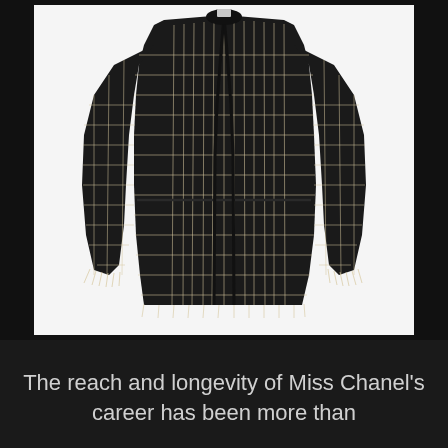[Figure (photo): A black and white tweed Chanel-style jacket displayed on a white background. The jacket features a classic boucle fabric with a grid-like pattern in black with white/cream threading. It has a collarless neckline, long sleeves with fringe cuffs, and a fitted silhouette.]
The reach and longevity of Miss Chanel's career has been more than